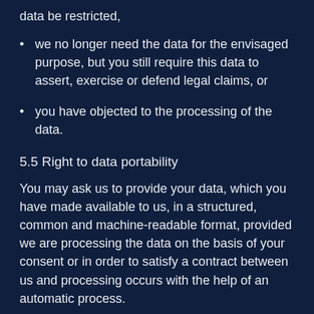we no longer need the data for the envisaged purpose, but you still require this data to assert, exercise or defend legal claims, or
you have objected to the processing of the data.
5.5 Right to data portability
You may ask us to provide your data, which you have made available to us, in a structured, common and machine-readable format, provided we are processing the data on the basis of your consent or in order to satisfy a contract between us and processing occurs with the help of an automatic process.
5.6 Right to object
If we process your data in order to perform tasks that